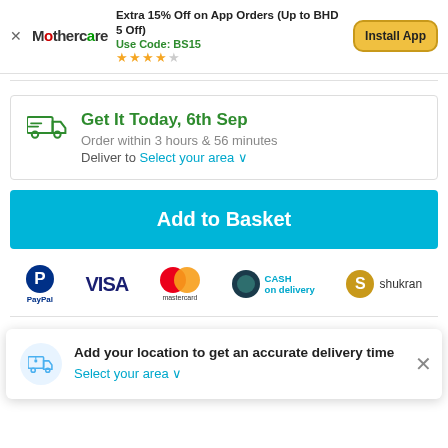[Figure (screenshot): Mothercare app install banner with logo, promo text, star rating, and Install App button]
Get It Today, 6th Sep
Order within 3 hours & 56 minutes
Deliver to Select your area ˅
Add to Basket
[Figure (logo): Payment method icons: PayPal, VISA, Mastercard, Cash on delivery, Shukran]
Enjoy Free Delivery
Add your location to get an accurate delivery time
Select your area ˅
Click & Collect